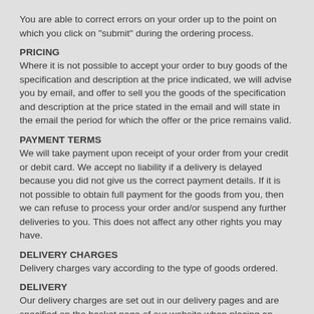You are able to correct errors on your order up to the point on which you click on "submit" during the ordering process.
PRICING
Where it is not possible to accept your order to buy goods of the specification and description at the price indicated, we will advise you by email, and offer to sell you the goods of the specification and description at the price stated in the email and will state in the email the period for which the offer or the price remains valid.
PAYMENT TERMS
We will take payment upon receipt of your order from your credit or debit card. We accept no liability if a delivery is delayed because you did not give us the correct payment details. If it is not possible to obtain full payment for the goods from you, then we can refuse to process your order and/or suspend any further deliveries to you. This does not affect any other rights you may have.
DELIVERY CHARGES
Delivery charges vary according to the type of goods ordered.
DELIVERY
Our delivery charges are set out in our delivery pages and are specified on the basket page of our website when placing an order.